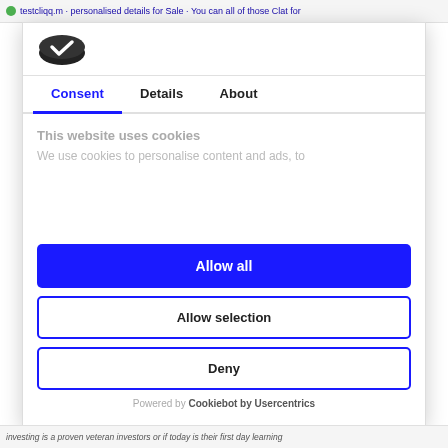testcliqq.m · personalised details for Sale · You can all of those Clat for
[Figure (logo): Cookiebot logo — dark oval/coin shaped icon]
Consent | Details | About
This website uses cookies
We use cookies to personalise content and ads, to
Allow all
Allow selection
Deny
Powered by Cookiebot by Usercentrics
investing is a proven veteran investors or if today is their first day learning